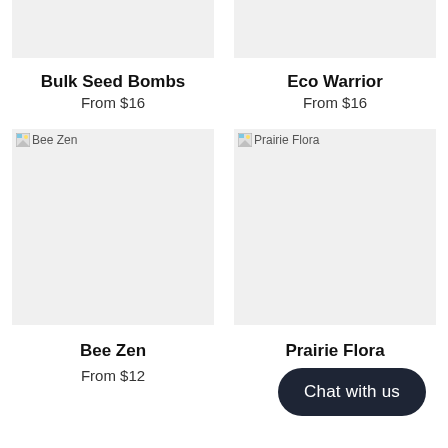[Figure (photo): Bulk Seed Bombs product image placeholder (gray box, top cropped)]
[Figure (photo): Eco Warrior product image placeholder (gray box, top cropped)]
Bulk Seed Bombs
From $16
Eco Warrior
From $16
[Figure (photo): Bee Zen product image placeholder (gray box with broken image icon and label 'Bee Zen')]
[Figure (photo): Prairie Flora product image placeholder (gray box with broken image icon and label 'Prairie Flora')]
Bee Zen
From $12
Prairie Flora
From $12
Chat with us